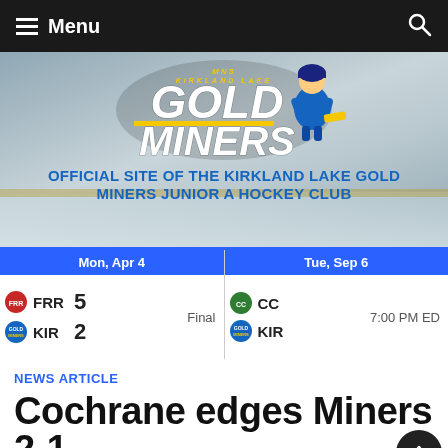Menu
[Figure (logo): Kirkland Lake Gold Miners hockey team logo with miner character in blue and gold uniform]
OFFICIAL SITE OF THE KIRKLAND LAKE GOLD MINERS JUNIOR A HOCKEY CLUB
| Date | Home | Score | Away | Status |
| --- | --- | --- | --- | --- |
| Mon, Apr 4 | FRR | 5 | KIR 2 | Final |
| Tue, Sep 6 | CC |  | KIR | 7:00 PM ED |
NEWS ARTICLE
Cochrane edges Miners 2-1